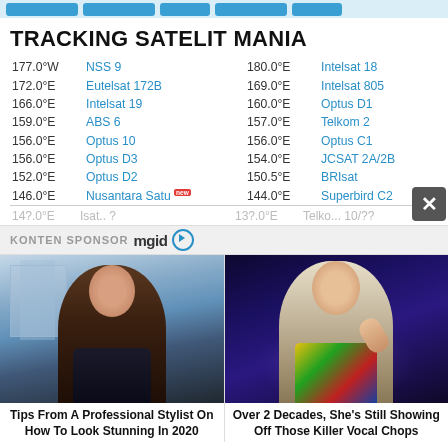Navigation buttons bar
TRACKING SATELIT MANIA
| Position | Name | Position | Name |
| --- | --- | --- | --- |
| 177.0°W | NSS 9 | 180.0°E | Intelsat 18 |
| 172.0°E | Eutelsat 172B | 169.0°E | Intelsat 805 |
| 166.0°E | Intelsat 19 | 160.0°E | Optus D1 |
| 159.0°E | ABS 6 | 157.0°E | Telkom 2 |
| 156.0°E | Optus 10 | 156.0°E | Optus C1 |
| 156.0°E | Optus D3 | 154.0°E | JCSAT 2A/2B |
| 152.0°E | Optus D2 | 150.5°E | BRIsat |
| 146.0°E | Nusantara Satu [new] | 144.0°E | Superbird C2 |
KONTEN SPONSOR mgid
[Figure (photo): Woman with long dark hair, outdoor background]
Tips From A Professional Stylist On How To Look Stunning In 2020
[Figure (photo): Blonde woman performing on stage in colorful outfit]
Over 2 Decades, She's Still Showing Off Those Killer Vocal Chops